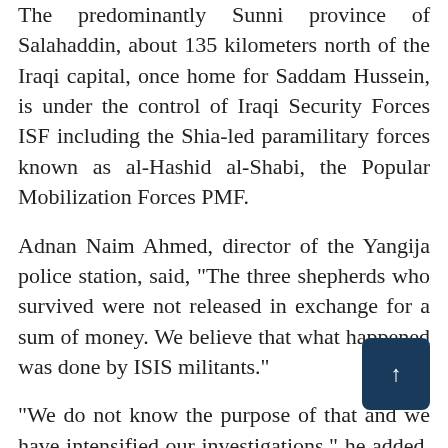The predominantly Sunni province of Salahaddin, about 135 kilometers north of the Iraqi capital, once home for Saddam Hussein, is under the control of Iraqi Security Forces ISF including the Shia-led paramilitary forces known as al-Hashid al-Shabi, the Popular Mobilization Forces PMF.
Adnan Naim Ahmed, director of the Yangija police station, said, "The three shepherds who survived were not released in exchange for a sum of money. We believe that what happened was done by ISIS militants."
“We do not know the purpose of that and we have intensified our investigations," he added. "The fate of one of the kidnapped shepherds is still unknown."
The five shepherds, all Arabs, have managed to get back the flock.